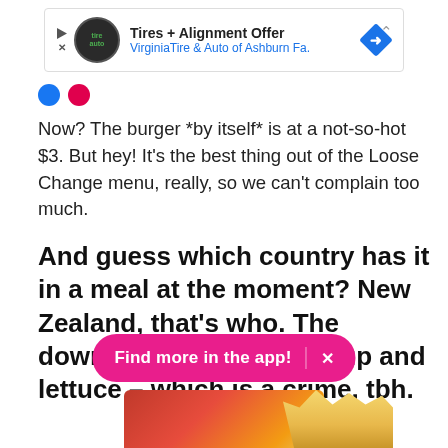[Figure (other): Advertisement banner for Tires + Alignment Offer from Virginia Tire & Auto of Ashburn Fa. with logo circle and blue diamond icon]
Now? The burger *by itself* is at a not-so-hot $3. But hey! It's the best thing out of the Loose Change menu, really, so we can't complain too much.
And guess which country has it in a meal at the moment? New Zealand, that's who. The downside? It's got ketchup and lettuce – which is a crime, tbh.
[Figure (other): Pink pill-shaped app banner reading 'Find more in the app!' with X close button, and bottom portion of a McDonald's meal with burger and fries]
Find more in the app!